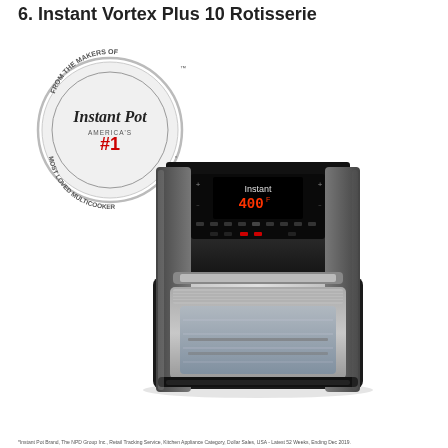6. Instant Vortex Plus 10 Rotisserie
[Figure (photo): Instant Pot brand seal/badge logo (circular, silver, 'From the Makers of Instant Pot, America's #1 Most Loved Multicooker') placed above a product photo of the Instant Vortex Plus 10 Rotisserie air fryer oven in stainless steel and black, showing the digital control panel with '400F' display and a large glass door window on the front.]
*Instant Pot Brand, The NPD Group Inc., Retail Tracking Service, Kitchen Appliance Category, Dollar Sales, USA - Latest 52 Weeks, Ending Dec 2019.